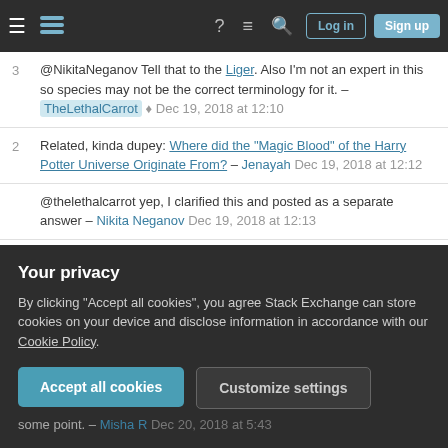Stack Exchange navigation bar with Log in and Sign up buttons
@NikitaNeganov Tell that to the Liger. Also I'm not an expert in this so species may not be the correct terminology for it. – TheLethalCarrot ♦ Dec 19, 2018 at 12:10
Related, kinda dupey: Where did the "Magic Blood" of the Harry Potter Universe Originate From? – Jenayah Dec 19, 2018 at 12:12
@thelethalcarrot yep, I clarified this and posted as a separate answer – Nikita Neganov Dec 19, 2018 at 12:13
@TheLethalCarrot The concept of species is not entirely solid. When two offshoots cannot produce
Your privacy
By clicking "Accept all cookies", you agree Stack Exchange can store cookies on your device and disclose information in accordance with our Cookie Policy.
Accept all cookies
Customize settings
some point. – Misha R Dec 20, 2018 at 5:43